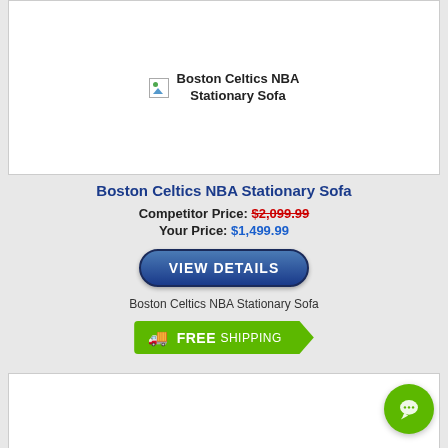[Figure (photo): Product image placeholder for Boston Celtics NBA Stationary Sofa showing broken image icon with label]
Boston Celtics NBA Stationary Sofa
Competitor Price: $2,099.99
Your Price: $1,499.99
[Figure (other): VIEW DETAILS button]
Boston Celtics NBA Stationary Sofa
[Figure (other): FREE SHIPPING banner with truck icon]
[Figure (photo): Second product card image area (bottom, partially visible)]
[Figure (other): Green circular chat/support button in bottom right corner]